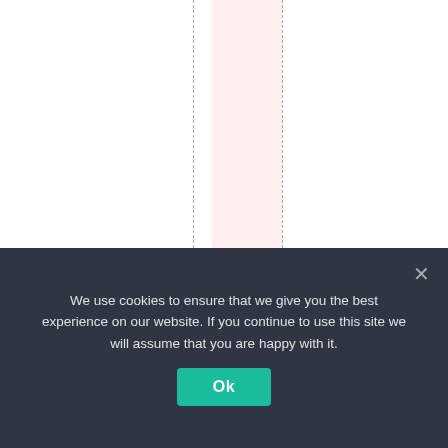nenjoyandthensome.
We use cookies to ensure that we give you the best experience on our website. If you continue to use this site we will assume that you are happy with it.